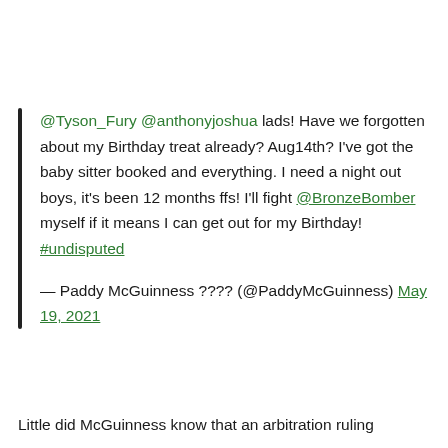@Tyson_Fury @anthonyjoshua lads! Have we forgotten about my Birthday treat already? Aug14th? I've got the baby sitter booked and everything. I need a night out boys, it's been 12 months ffs! I'll fight @BronzeBomber myself if it means I can get out for my Birthday! #undisputed
— Paddy McGuinness ???? (@PaddyMcGuinness) May 19, 2021
Little did McGuinness know that an arbitration ruling